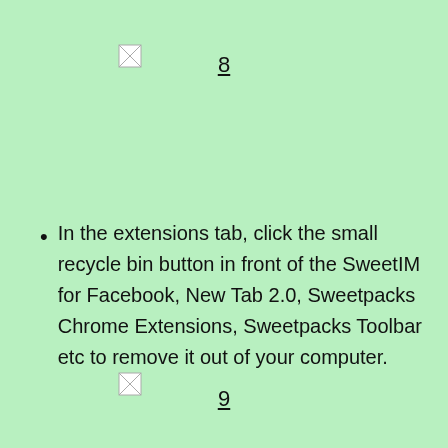[Figure (other): Broken image icon top left]
8
In the extensions tab, click the small recycle bin button in front of the SweetIM for Facebook, New Tab 2.0, Sweetpacks Chrome Extensions, Sweetpacks Toolbar etc to remove it out of your computer.
[Figure (other): Broken image icon bottom left]
9